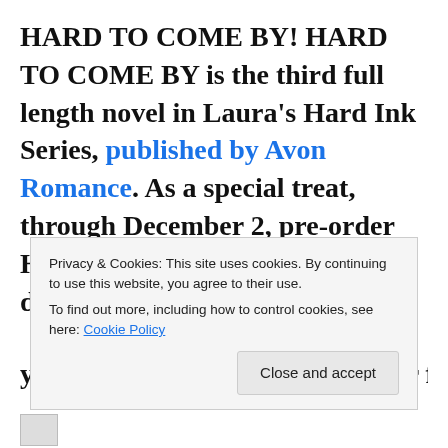HARD TO COME BY! HARD TO COME BY is the third full length novel in Laura's Hard Ink Series, published by Avon Romance. As a special treat, through December 2, pre-order Hard to Come By or purchase it during release week, and
Privacy & Cookies: This site uses cookies. By continuing to use this website, you agree to their use. To find out more, including how to control cookies, see here: Cookie Policy
Close and accept